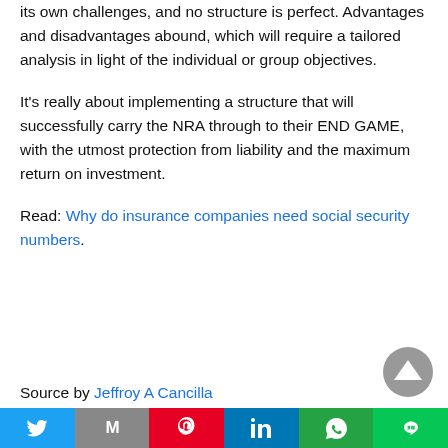its own challenges, and no structure is perfect. Advantages and disadvantages abound, which will require a tailored analysis in light of the individual or group objectives.
It's really about implementing a structure that will successfully carry the NRA through to their END GAME, with the utmost protection from liability and the maximum return on investment.
Read: Why do insurance companies need social security numbers.
Source by Jeffroy A Cancilla
Twitter | M | Pinterest | LinkedIn | WhatsApp | LINE